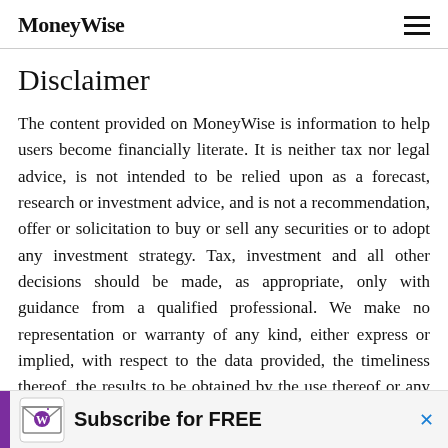MoneyWise
Disclaimer
The content provided on MoneyWise is information to help users become financially literate. It is neither tax nor legal advice, is not intended to be relied upon as a forecast, research or investment advice, and is not a recommendation, offer or solicitation to buy or sell any securities or to adopt any investment strategy. Tax, investment and all other decisions should be made, as appropriate, only with guidance from a qualified professional. We make no representation or warranty of any kind, either express or implied, with respect to the data provided, the timeliness thereof, the results to be obtained by the use thereof or any other matter.
[Figure (infographic): Advertisement banner: purple vertical stripe, envelope icon with W logo, text 'Subscribe for FREE', close button X]